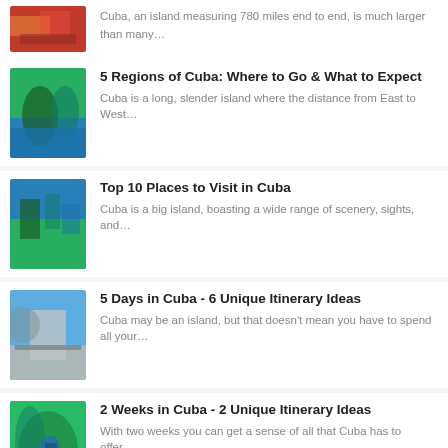Cuba, an island measuring 780 miles end to end, is much larger than many...
5 Regions of Cuba: Where to Go & What to Expect
Cuba is a long, slender island where the distance from East to West...
Top 10 Places to Visit in Cuba
Cuba is a big island, boasting a wide range of scenery, sights, and...
5 Days in Cuba - 6 Unique Itinerary Ideas
Cuba may be an island, but that doesn't mean you have to spend all your...
2 Weeks in Cuba - 2 Unique Itinerary Ideas
With two weeks you can get a sense of all that Cuba has to offer....
Latest Travel Insights
Best Time of Year to Visit Cuba: Weather, Travel Tips, & ...